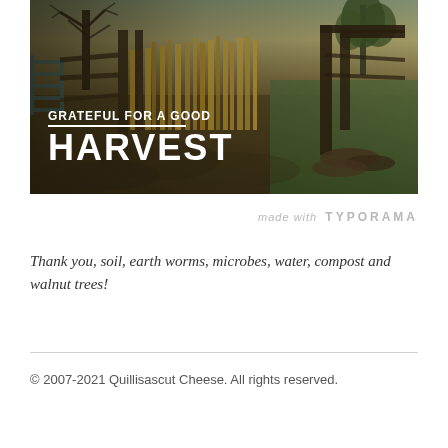[Figure (photo): Farm scene showing a rustic wooden gate and fence in autumn, with golden grasses, bare trees, and muddy ground. Text overlay reads 'GRATEFUL FOR A GOOD HARVEST' in white bold letters on the left side of the image.]
made with TYPORAMA
Thank you, soil, earth worms, microbes, water, compost and walnut trees!
© 2007-2021 Quillisascut Cheese. All rights reserved.